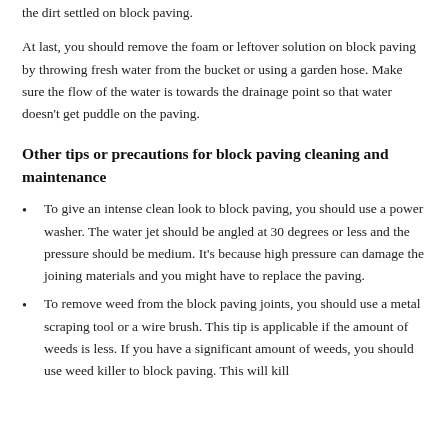the dirt settled on block paving.
At last, you should remove the foam or leftover solution on block paving by throwing fresh water from the bucket or using a garden hose. Make sure the flow of the water is towards the drainage point so that water doesn't get puddle on the paving.
Other tips or precautions for block paving cleaning and maintenance
To give an intense clean look to block paving, you should use a power washer. The water jet should be angled at 30 degrees or less and the pressure should be medium. It's because high pressure can damage the joining materials and you might have to replace the paving.
To remove weed from the block paving joints, you should use a metal scraping tool or a wire brush. This tip is applicable if the amount of weeds is less. If you have a significant amount of weeds, you should use weed killer to block paving. This will kill